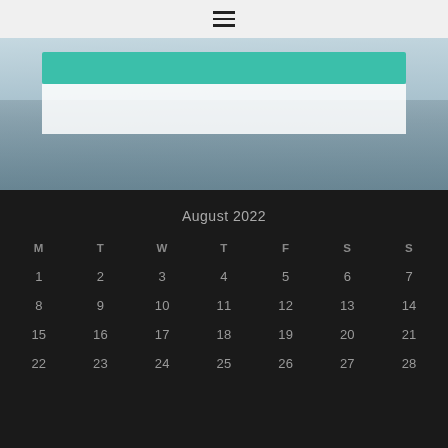[Figure (screenshot): Top navigation bar with hamburger menu icon (three horizontal lines) on a light gray background]
[Figure (photo): Aerial photo of residential buildings and urban areas with a teal/green horizontal banner bar overlay]
| M | T | W | T | F | S | S |
| --- | --- | --- | --- | --- | --- | --- |
| 1 | 2 | 3 | 4 | 5 | 6 | 7 |
| 8 | 9 | 10 | 11 | 12 | 13 | 14 |
| 15 | 16 | 17 | 18 | 19 | 20 | 21 |
| 22 | 23 | 24 | 25 | 26 | 27 | 28 |